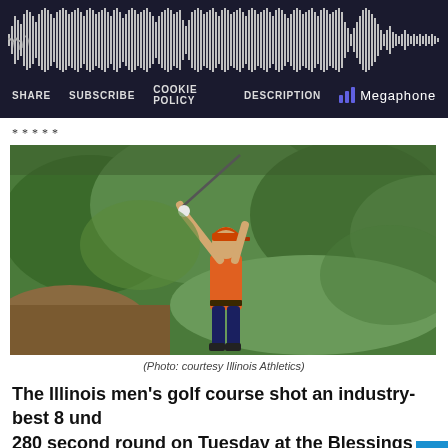[Figure (screenshot): Podcast audio player widget with waveform visualization on dark background, showing controls: SHARE, SUBSCRIBE, COOKIE POLICY, DESCRIPTION, and Megaphone branding logo]
*****
[Figure (photo): A golfer wearing an orange Illinois Athletics shirt and orange cap, mid-swing follow-through, with trees/greenery in the background]
(Photo: courtesy Illinois Athletics)
The Illinois men's golf course shot an industry-best 8 und 280 second round on Tuesday at the Blessings Collegiate